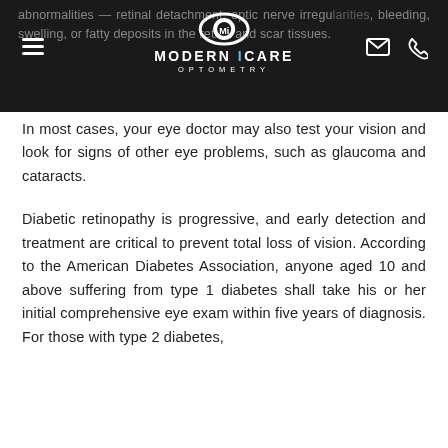Modern iCare Optometry — navigation header with logo
In most cases, your eye doctor may also test your vision and look for signs of other eye problems, such as glaucoma and cataracts.
Diabetic retinopathy is progressive, and early detection and treatment are critical to prevent total loss of vision. According to the American Diabetes Association, anyone aged 10 and above suffering from type 1 diabetes shall take his or her initial comprehensive eye exam within five years of diagnosis. For those with type 2 diabetes,